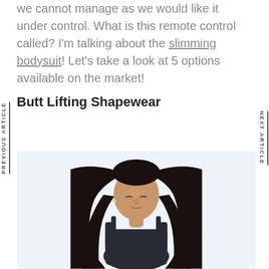we cannot manage as we would like it under control. What is this remote control called? I'm talking about the slimming bodysuit! Let's take a look at 5 options available on the market!
Butt Lifting Shapewear
[Figure (photo): A woman with long dark hair wearing a dark bodysuit/shapewear against a light blue-grey background, looking downward]